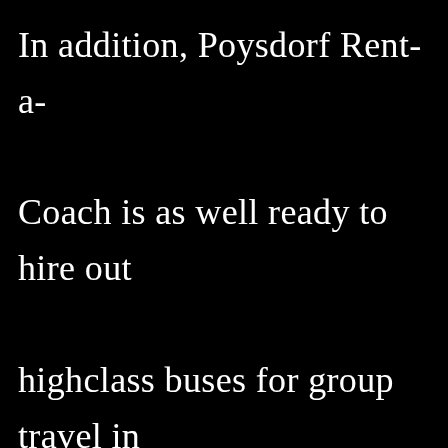In addition, Poysdorf Rent-a-Coach is as well ready to hire out highclass buses for group travel in Austria and in every single of its neighbouring territories. Our professional salespeople can reply to your request relating to our office and concerning the many